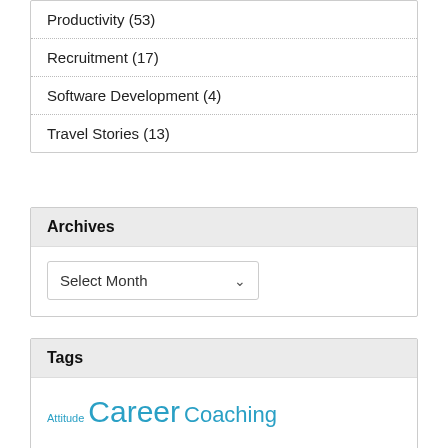Productivity (53)
Recruitment (17)
Software Development (4)
Travel Stories (13)
Archives
Select Month
Tags
Attitude Career Coaching Communication Culture Decision making Diversity Feedback Happiness Influence Introverts Leadership Life Management